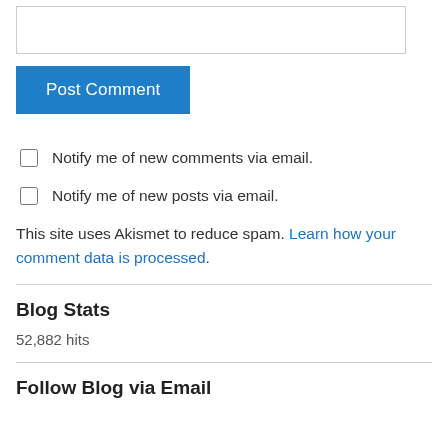[Figure (other): Text input box (comment form field)]
Post Comment
Notify me of new comments via email.
Notify me of new posts via email.
This site uses Akismet to reduce spam. Learn how your comment data is processed.
Blog Stats
52,882 hits
Follow Blog via Email